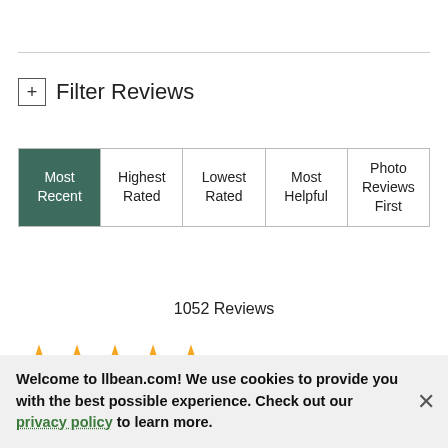Filter Reviews
| Most Recent | Highest Rated | Lowest Rated | Most Helpful | Photo Reviews First |
| --- | --- | --- | --- | --- |
|  |
1052 Reviews
[Figure (other): 5 gold star rating icons]
August 28, 2022
Welcome to llbean.com! We use cookies to provide you with the best possible experience. Check out our privacy policy to learn more.